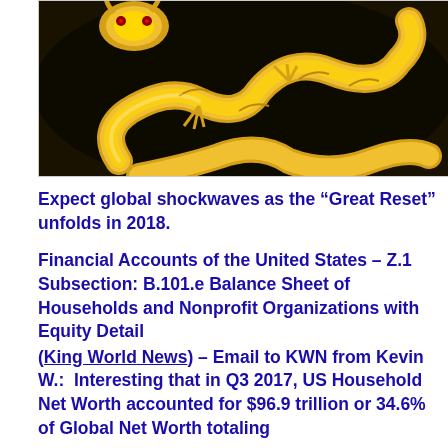[Figure (photo): A golden dragon sculpture/figurine with ornate coiling body, photographed against a dark background.]
Expect global shockwaves as the “Great Reset” unfolds in 2018.
Financial Accounts of the United States – Z.1 Subsection: B.101.e Balance Sheet of Households and Nonprofit Organizations with Equity Detail
(King World News) – Email to KWN from Kevin W.:  Interesting that in Q3 2017, US Household Net Worth accounted for $96.9 trillion or 34.6% of Global Net Worth totaling